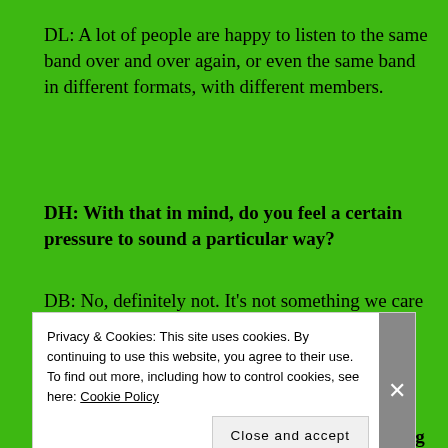DL: A lot of people are happy to listen to the same band over and over again, or even the same band in different formats, with different members.
DH: With that in mind, do you feel a certain pressure to sound a particular way?
DB: No, definitely not. It’s not something we care about, so if we come in with something that we don’t think sounds like us, we then think, “Well, we’d better get it out there.”.
DH: What do you prefer: recording, or playing live?
DB: Playing live. It’s what we do.
Privacy & Cookies: This site uses cookies. By continuing to use this website, you agree to their use. To find out more, including how to control cookies, see here: Cookie Policy
Close and accept